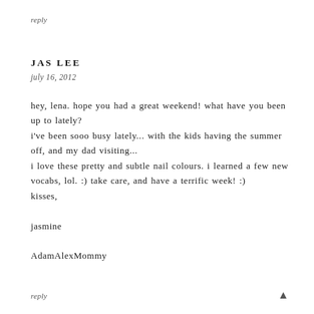reply
JAS LEE
july 16, 2012
hey, lena. hope you had a great weekend! what have you been up to lately?
i've been sooo busy lately... with the kids having the summer off, and my dad visiting...
i love these pretty and subtle nail colours. i learned a few new vocabs, lol. :) take care, and have a terrific week! :)
kisses,
jasmine
AdamAlexMommy
reply